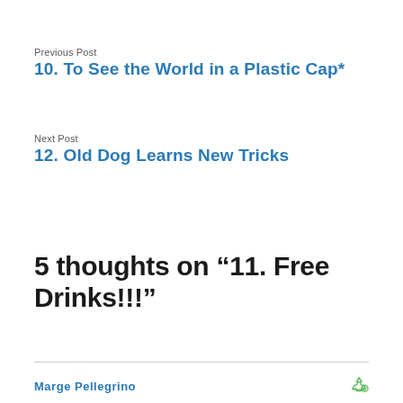Previous Post
10. To See the World in a Plastic Cap*
Next Post
12. Old Dog Learns New Tricks
5 thoughts on “11. Free Drinks!!!”
Marge Pellegrino